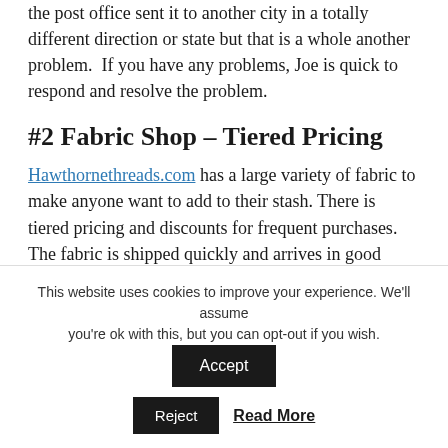the post office sent it to another city in a totally different direction or state but that is a whole another problem.  If you have any problems, Joe is quick to respond and resolve the problem.
#2 Fabric Shop – Tiered Pricing
Hawthornethreads.com has a large variety of fabric to make anyone want to add to their stash. There is tiered pricing and discounts for frequent purchases. The fabric is shipped quickly and arrives in good shape.
#3 Missour i Star Quilt C…
This website uses cookies to improve your experience. We'll assume you're ok with this, but you can opt-out if you wish.
Accept
Reject
Read More